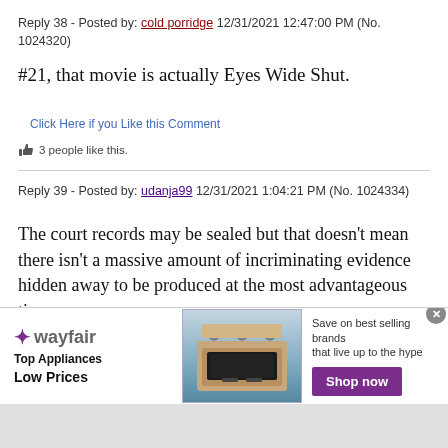Reply 38 - Posted by: cold porridge 12/31/2021 12:47:00 PM (No. 1024320)
#21, that movie is actually Eyes Wide Shut.
Click Here if you Like this Comment
3 people like this.
Reply 39 - Posted by: udanja99 12/31/2021 1:04:21 PM (No. 1024334)
The court records may be sealed but that doesn't mean there isn't a massive amount of incriminating evidence hidden away to be produced at the most advantageous time.
[Figure (infographic): Wayfair advertisement banner: 'Top Appliances Low Prices' with stove image and 'Save on best selling brands that live up to the hype. Shop now' button]